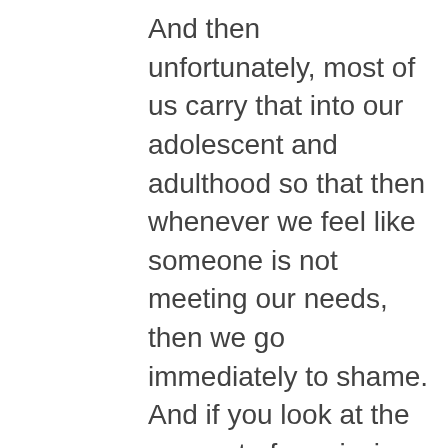And then unfortunately, most of us carry that into our adolescent and adulthood so that then whenever we feel like someone is not meeting our needs, then we go immediately to shame. And if you look at the concept of narcissism or emotionally immature people, that's why when they are criticized, they go so fast to shame. Because shame says that not how we say guilt. Guilt says, I feel bad. Shame says I am bad, I am a bad person. So if you have this core belief of shame, then if somebody else even criticizes you, you will immediately. It's your brain is wired to go right to shame. So then you will do anything to defend your fragile ego. That's the definition of narcissism or emotional immaturity. So here's the and